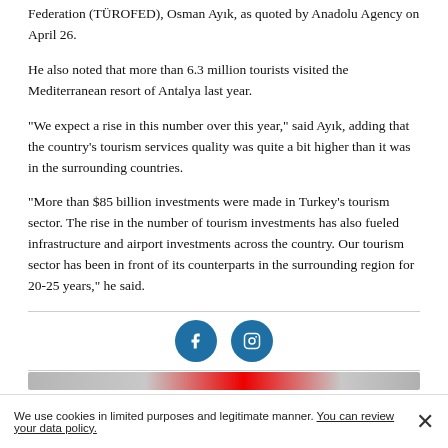Federation (TÜROFED), Osman Ayık, as quoted by Anadolu Agency on April 26.
He also noted that more than 6.3 million tourists visited the Mediterranean resort of Antalya last year.
“We expect a rise in this number over this year,” said Ayık, adding that the country’s tourism services quality was quite a bit higher than it was in the surrounding countries.
“More than $85 billion investments were made in Turkey’s tourism sector. The rise in the number of tourism investments has also fueled infrastructure and airport investments across the country. Our tourism sector has been in front of its counterparts in the surrounding region for 20-25 years,” he said.
[Figure (other): Social media share buttons: two circular blue buttons with icons (Facebook and another social network)]
TÜRKİYE
[Figure (photo): Partial image strip at the bottom of the article section]
We use cookies in limited purposes and legitimate manner. You can review your data policy.